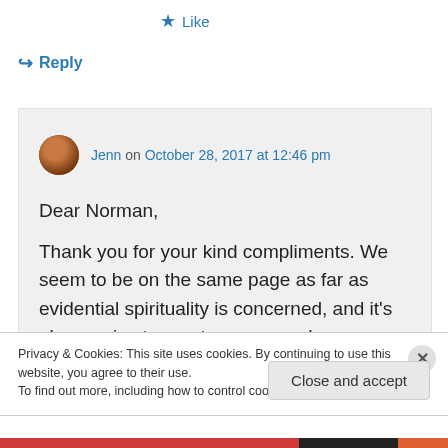★ Like
↪ Reply
Jenn on October 28, 2017 at 12:46 pm
Dear Norman,

Thank you for your kind compliments. We seem to be on the same page as far as evidential spirituality is concerned, and it's always nice to meet someone who
Privacy & Cookies: This site uses cookies. By continuing to use this website, you agree to their use.
To find out more, including how to control cookies, see here: Cookie Policy
Close and accept